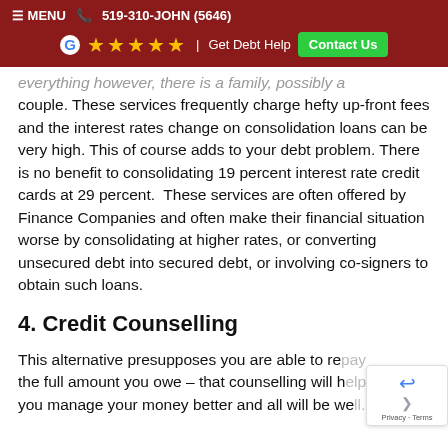≡ MENU  📞 519-310-JOHN (5646) | ★★★★★ | Get Debt Help  Contact Us
everything however, there is a family, possibly a couple. These services frequently charge hefty up-front fees and the interest rates change on consolidation loans can be very high. This of course adds to your debt problem. There is no benefit to consolidating 19 percent interest rate credit cards at 29 percent.  These services are often offered by Finance Companies and often make their financial situation worse by consolidating at higher rates, or converting unsecured debt into secured debt, or involving co-signers to obtain such loans.
4. Credit Counselling
This alternative presupposes you are able to repay the full amount you owe – that counselling will help you manage your money better and all will be well.